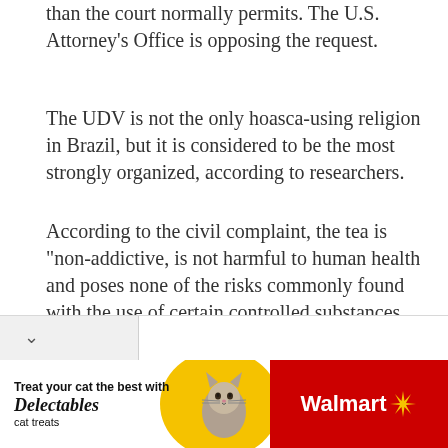than the court normally permits. The U.S. Attorney's Office is opposing the request.
The UDV is not the only hoasca-using religion in Brazil, but it is considered to be the most strongly organized, according to researchers.
According to the civil complaint, the tea is "non-addictive, is not harmful to human health and poses none of the risks commonly found with the use of certain controlled substances. Also, anthropological research has show that this tea has been used safely in religious contexts for more than 1,500 years."
[Figure (infographic): Advertisement banner: 'Treat your cat the best with Delectables cat treats' with Walmart logo and a cat image, yellow and red background.]